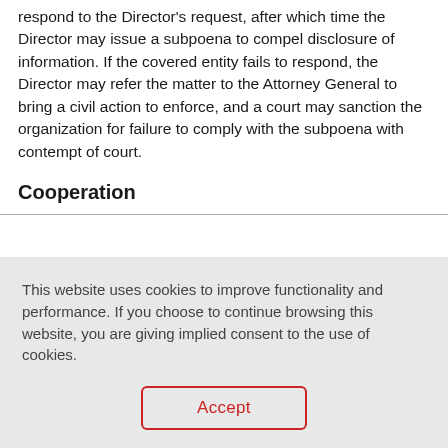respond to the Director's request, after which time the Director may issue a subpoena to compel disclosure of information. If the covered entity fails to respond, the Director may refer the matter to the Attorney General to bring a civil action to enforce, and a court may sanction the organization for failure to comply with the subpoena with contempt of court.
Cooperation
This website uses cookies to improve functionality and performance. If you choose to continue browsing this website, you are giving implied consent to the use of cookies.